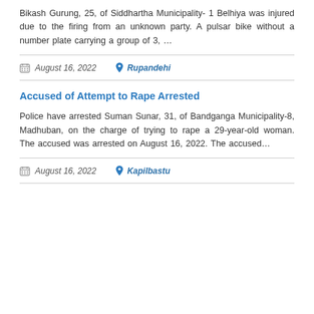Bikash Gurung, 25, of Siddhartha Municipality- 1 Belhiya was injured due to the firing from an unknown party. A pulsar bike without a number plate carrying a group of 3, …
August 16, 2022   Rupandehi
Accused of Attempt to Rape Arrested
Police have arrested Suman Sunar, 31, of Bandganga Municipality-8, Madhuban, on the charge of trying to rape a 29-year-old woman. The accused was arrested on August 16, 2022. The accused…
August 16, 2022   Kapilbastu